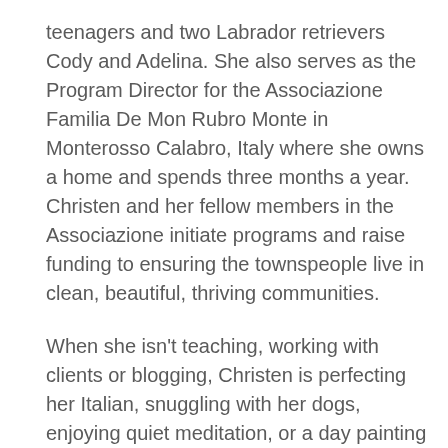teenagers and two Labrador retrievers Cody and Adelina. She also serves as the Program Director for the Associazione Familia De Mon Rubro Monte in Monterosso Calabro, Italy where she owns a home and spends three months a year. Christen and her fellow members in the Associazione initiate programs and raise funding to ensuring the townspeople live in clean, beautiful, thriving communities.
When she isn't teaching, working with clients or blogging, Christen is perfecting her Italian, snuggling with her dogs, enjoying quiet meditation, or a day painting in her studio. She also loves yoga and video chatting with her sister.